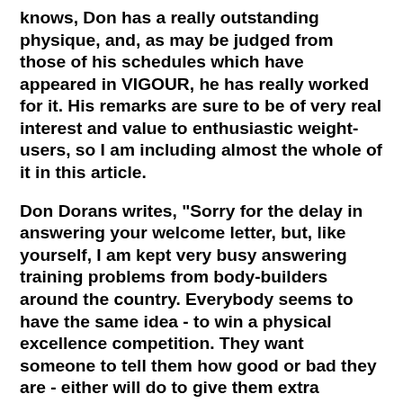knows, Don has a really outstanding physique, and, as may be judged from those of his schedules which have appeared in VIGOUR, he has really worked for it. His remarks are sure to be of very real interest and value to enthusiastic weight-users, so I am including almost the whole of it in this article.
Don Dorans writes, "Sorry for the delay in answering your welcome letter, but, like yourself, I am kept very busy answering training problems from body-builders around the country. Everybody seems to have the same idea - to win a physical excellence competition. They want someone to tell them how good or bad they are - either will do to give them extra encouragement. I am pleased to say that they all subscribe to VIGOUR and are as proud as I am about it.
"Well, John, it is easy for me to write about